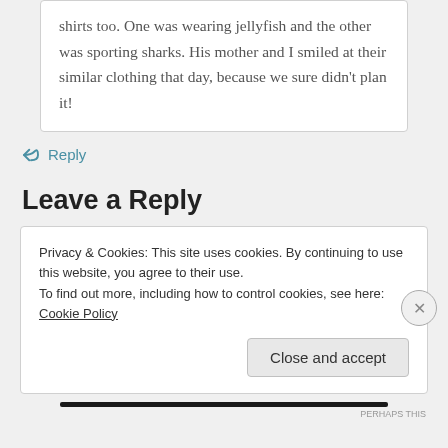shirts too. One was wearing jellyfish and the other was sporting sharks. His mother and I smiled at their similar clothing that day, because we sure didn't plan it!
↩ Reply
Leave a Reply
Privacy & Cookies: This site uses cookies. By continuing to use this website, you agree to their use.
To find out more, including how to control cookies, see here: Cookie Policy
Close and accept